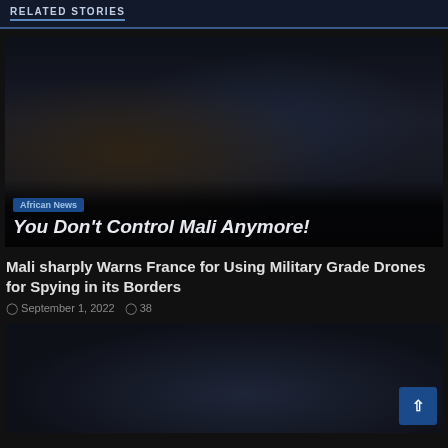RELATED STORIES
[Figure (photo): Two men in a dimly lit image, one in military camouflage and one in a dark suit, appear to be in conversation or reviewing documents. Dark, moody photograph.]
African News — You Don't Control Mali Anymore!
Mali sharply Warns France for Using Military Grade Drones for Spying in its Borders
September 1, 2022  38
[Figure (photo): Partially visible image showing what appears to be a building or structure with a medallion or seal, rendered in dark blue-grey tones.]